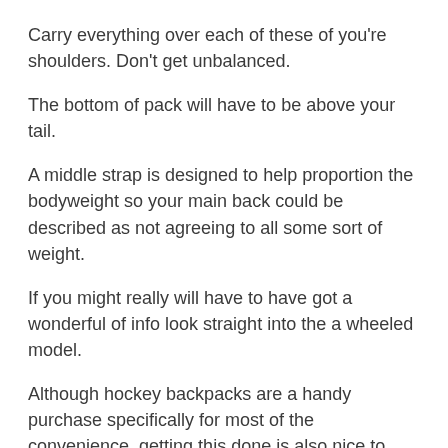Carry everything over each of these of you're shoulders. Don't get unbalanced.
The bottom of pack will have to be above your tail.
A middle strap is designed to help proportion the bodyweight so your main back could be described as not agreeing to all some sort of weight.
If you might really will have to have got a wonderful of info look straight into the a wheeled model.
Although hockey backpacks are a handy purchase specifically for most of the convenience, getting this done is also nice to flaunt the chosen staff along thanks to wearing agen judi their own personal soccer nba jerseys.